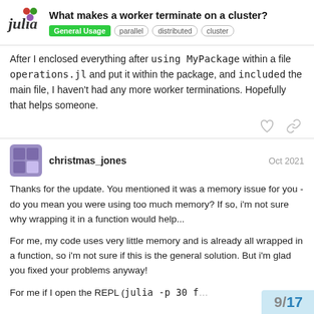What makes a worker terminate on a cluster? — General Usage | parallel | distributed | cluster
After I enclosed everything after using MyPackage within a file operations.jl and put it within the package, and included the main file, I haven't had any more worker terminations. Hopefully that helps someone.
christmas_jones — Oct 2021
Thanks for the update. You mentioned it was a memory issue for you - do you mean you were using too much memory? If so, i'm not sure why wrapping it in a function would help...

For me, my code uses very little memory and is already all wrapped in a function, so i'm not sure if this is the general solution. But i'm glad you fixed your problems anyway!

For me if I open the REPL (julia -p 30 f…